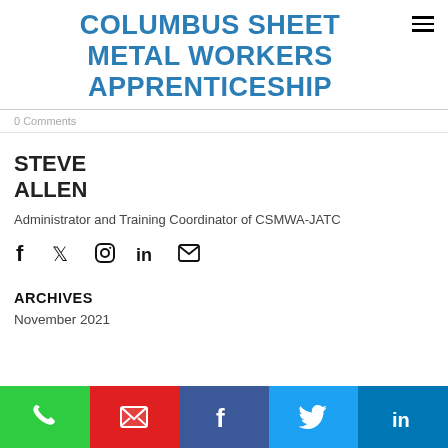COLUMBUS SHEET METAL WORKERS APPRENTICESHIP
0 Comments
STEVE ALLEN
Administrator and Training Coordinator of CSMWA-JATC
[Figure (infographic): Social media icon links: Facebook, Twitter, Instagram, LinkedIn, Email]
ARCHIVES
November 2021
[Figure (infographic): Bottom contact/social bar with phone (green), email (red), Facebook (dark blue), Twitter (light blue), LinkedIn (blue) buttons]